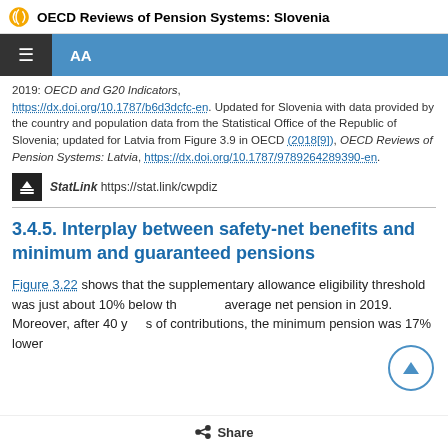OECD Reviews of Pension Systems: Slovenia
2019: OECD and G20 Indicators, https://dx.doi.org/10.1787/b6d3dcfc-en. Updated for Slovenia with data provided by the country and population data from the Statistical Office of the Republic of Slovenia; updated for Latvia from Figure 3.9 in OECD (2018[9]), OECD Reviews of Pension Systems: Latvia, https://dx.doi.org/10.1787/9789264289390-en.
StatLink https://stat.link/cwpdiz
3.4.5. Interplay between safety-net benefits and minimum and guaranteed pensions
Figure 3.22 shows that the supplementary allowance eligibility threshold was just about 10% below the average net pension in 2019. Moreover, after 40 years of contributions, the minimum pension was 17% lower